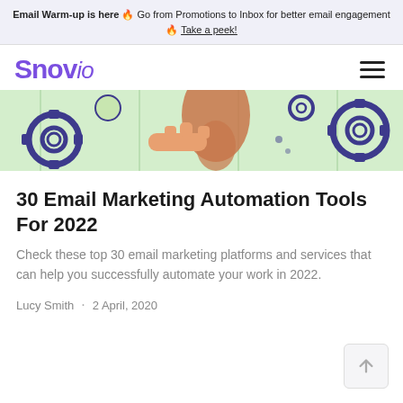Email Warm-up is here 🔥 Go from Promotions to Inbox for better email engagement 🔥 Take a peek!
Snov.io
[Figure (illustration): Partial illustration showing a hand pointing, gears, and a light bulb on a green background — decorative blog header image]
30 Email Marketing Automation Tools For 2022
Check these top 30 email marketing platforms and services that can help you successfully automate your work in 2022.
Lucy Smith · 2 April, 2020